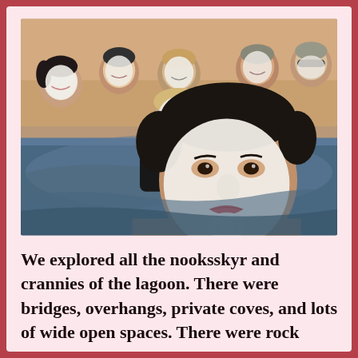[Figure (photo): Group selfie photo of approximately 8 people in a geothermal lagoon/pool, all with white silica mud masks applied to their faces. The foreground shows a man with a prominent white mud mask with red lips visible. Several others are visible behind him, all smiling, in blue-gray thermal water.]
We explored all the nooksskyr and crannies of the lagoon. There were bridges, overhangs, private coves, and lots of wide open spaces. There were rock